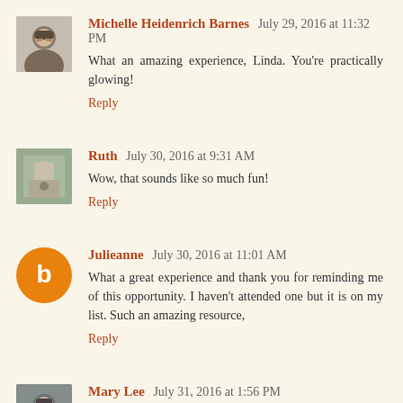Michelle Heidenrich Barnes  July 29, 2016 at 11:32 PM
What an amazing experience, Linda. You're practically glowing!
Reply
Ruth  July 30, 2016 at 9:31 AM
Wow, that sounds like so much fun!
Reply
Julieanne  July 30, 2016 at 11:01 AM
What a great experience and thank you for reminding me of this opportunity. I haven't attended one but it is on my list. Such an amazing resource,
Reply
Mary Lee  July 31, 2016 at 1:56 PM